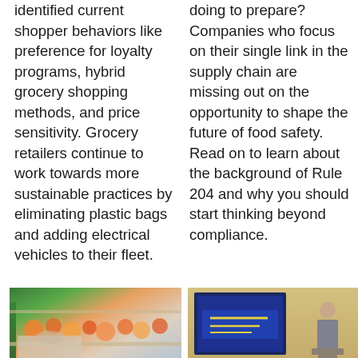identified current shopper behaviors like preference for loyalty programs, hybrid grocery shopping methods, and price sensitivity. Grocery retailers continue to work towards more sustainable practices by eliminating plastic bags and adding electrical vehicles to their fleet.
doing to prepare? Companies who focus on their single link in the supply chain are missing out on the opportunity to shape the future of food safety. Read on to learn about the background of Rule 204 and why you should start thinking beyond compliance.
[Figure (photo): Photo of grocery store shelves with colorful produce items, showing a person in the foreground]
[Figure (photo): Photo of a person presenting at a podium with a screen showing a logo behind them, in what appears to be a conference or event setting]